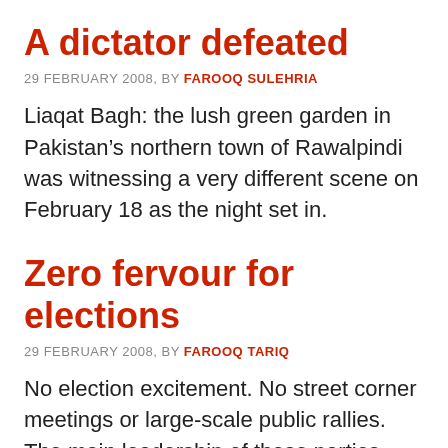A dictator defeated
29 FEBRUARY 2008, BY FAROOQ SULEHRIA
Liaqat Bagh: the lush green garden in Pakistan’s northern town of Rawalpindi was witnessing a very different scene on February 18 as the night set in.
Zero fervour for elections
29 FEBRUARY 2008, BY FAROOQ TARIQ
No election excitement. No street corner meetings or large-scale public rallies. The main leadership of those parties participating in the elections plan no national tour [ACCESSIBILITY] be the most colorless election in the history of